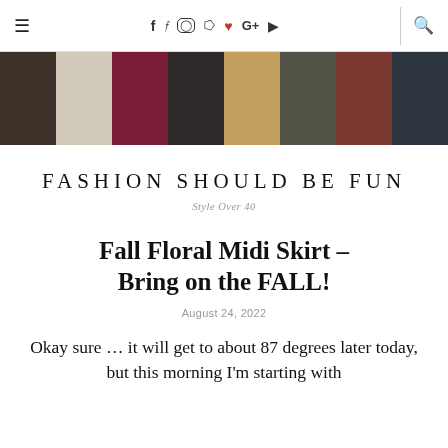Navigation bar with hamburger menu, social icons (f, Twitter, Instagram, Pinterest, heart, G+, YouTube), and search icon
[Figure (photo): Horizontal strip of 8 fashion/clothing photos showing various outfits and a handbag]
FASHION SHOULD BE FUN
Style Over 40
Fall Floral Midi Skirt – Bring on the FALL!
August 24, 2022
Okay sure … it will get to about 87 degrees later today, but this morning I'm starting with ...